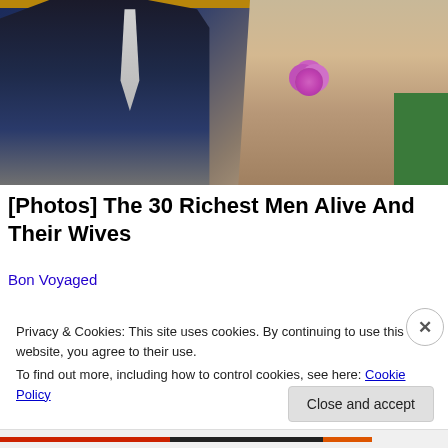[Figure (photo): Two people sitting side by side, a man in a dark navy suit with a light grey tie on the left, and a woman with long brown hair wearing a beige/gold lace outfit with a pink flower corsage on the right, seated in what appears to be a sporting event venue with green seats and wooden railing.]
[Photos] The 30 Richest Men Alive And Their Wives
Bon Voyaged
[Figure (photo): Partial view of a second article thumbnail with purple, blue and teal colors.]
Privacy & Cookies: This site uses cookies. By continuing to use this website, you agree to their use.
To find out more, including how to control cookies, see here: Cookie Policy
Close and accept